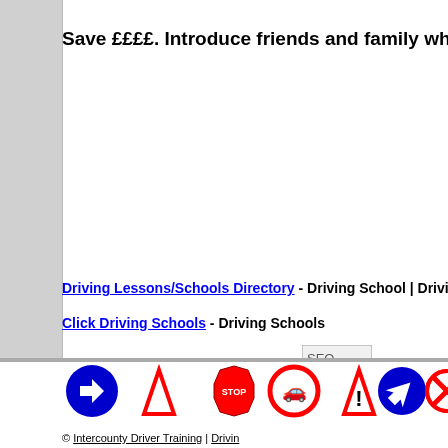Save ££££. Introduce friends and family who want t
Driving Lessons/Schools Directory - Driving School | Driving Lessons
Click Driving Schools - Driving Schools
[Figure (logo): SEO image/logo placeholder]
frontpage hit coun
[Figure (illustration): Row of UK road signs: blue circle with right arrow, red triangle, red octagon STOP, red circle with car, red triangle with exclamation, blue circle with diagonal arrow, red circle with X, red triangle]
© Intercounty Driver Training | Drivin